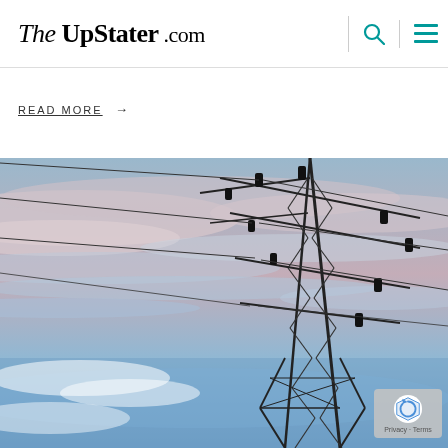The UpStater .com
READ MORE →
[Figure (photo): A large electrical transmission tower (power line pylon) photographed from below against a dramatic sky with streaking clouds in shades of blue, pink, and white. The steel lattice structure dominates the upper right portion of the image with multiple power lines extending outward.]